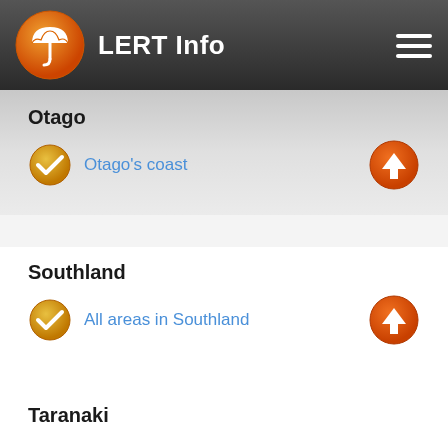LERT Info
Otago
Otago's coast
Southland
All areas in Southland
Taranaki